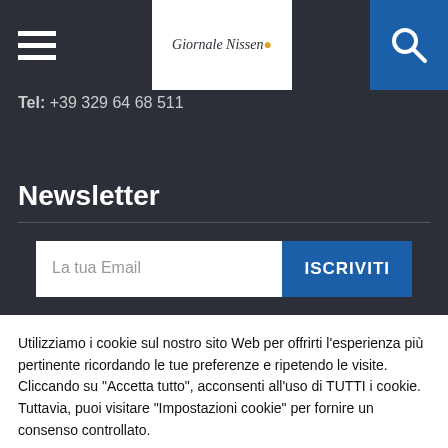Giornale Nissen — navigation header with hamburger menu, logo, and search icon
Tel: +39 329 64 68 511
Newsletter
La tua Email
ISCRIVITI
Utilizziamo i cookie sul nostro sito Web per offrirti l'esperienza più pertinente ricordando le tue preferenze e ripetendo le visite. Cliccando su "Accetta tutto", acconsenti all'uso di TUTTI i cookie. Tuttavia, puoi visitare "Impostazioni cookie" per fornire un consenso controllato.
Impostazioni
Accetta tutto